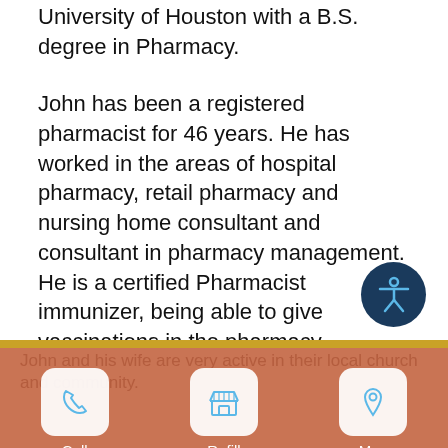University of Houston with a B.S. degree in Pharmacy.
John has been a registered pharmacist for 46 years. He has worked in the areas of hospital pharmacy, retail pharmacy and nursing home consultant and consultant in pharmacy management. He is a certified Pharmacist immunizer, being able to give vaccinations in the pharmacy.
John calls Comanche, Texas home. He and his
Call   Refill   Map